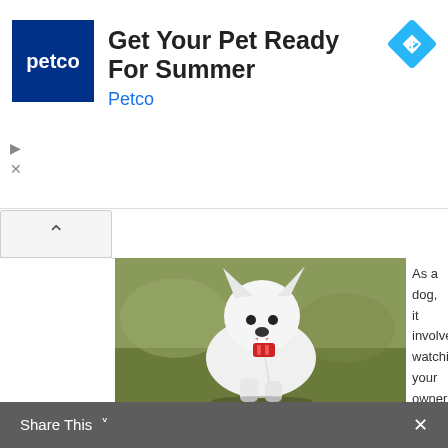[Figure (screenshot): Petco advertisement banner with dark blue square Petco logo, bold headline 'Get Your Pet Ready For Summer', subtitle 'Petco' in blue, and a blue diamond navigation icon in top right corner]
[Figure (photo): White dog running on grass, holding a red toy in its mouth, with a red ball on a string hanging from the toy]
As a dog, it involves: watching your owner while he throws the ball>running after it>picking it up>keepin
[Figure (screenshot): Bottom share bar with 'Share This' text, chevron down icon, and X close button on dark grey background]